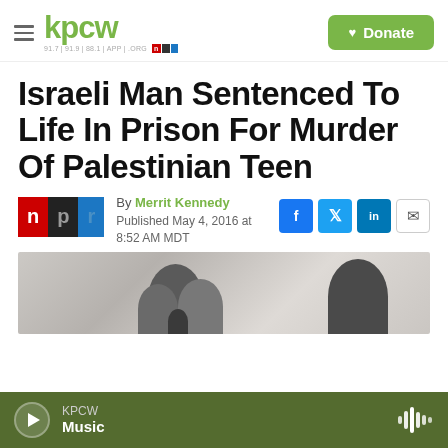KPCW | 91.7 | 91.9 | 88.1 | APP | .ORG | NPR | Donate
Israeli Man Sentenced To Life In Prison For Murder Of Palestinian Teen
By Merrit Kennedy
Published May 4, 2016 at 8:52 AM MDT
[Figure (photo): Partial photo of people in a room, faces partially visible]
KPCW Music